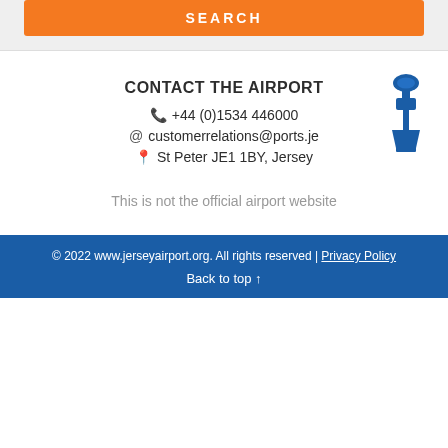[Figure (other): Orange SEARCH button at top of page]
CONTACT THE AIRPORT
+44 (0)1534 446000
customerrelations@ports.je
St Peter JE1 1BY, Jersey
[Figure (illustration): Blue airport control tower icon]
This is not the official airport website
© 2022 www.jerseyairport.org. All rights reserved | Privacy Policy
Back to top ↑